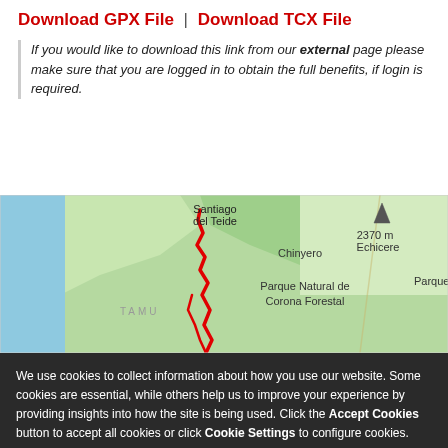Download GPX File | Download TCX File
If you would like to download this link from our external page please make sure that you are logged in to obtain the full benefits, if login is required.
[Figure (map): Map showing a hiking route (red line) in Tenerife around Santiago del Teide area, showing Chinyero, Parque Natural de Corona Forestal, 2370m Echicere, and Parque labels.]
We use cookies to collect information about how you use our website. Some cookies are essential, while others help us to improve your experience by providing insights into how the site is being used. Click the Accept Cookies button to accept all cookies or click Cookie Settings to configure cookies.